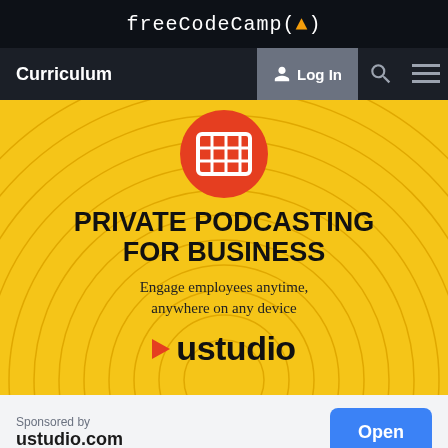freeCodeCamp(🔥)
Curriculum | Log In
[Figure (screenshot): Private Podcasting for Business advertisement banner by ustudio. Yellow background with concentric circles, a red circular icon with a building/grid graphic, bold headline 'PRIVATE PODCASTING FOR BUSINESS', subtext 'Engage employees anytime, anywhere on any device', and ustudio logo.]
Sponsored by
ustudio.com
Open
Suggested Topics